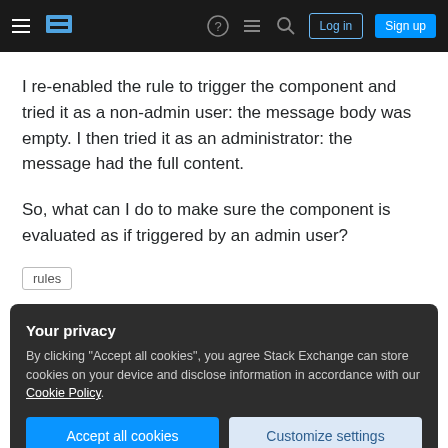Stack Exchange navigation bar with hamburger menu, logo, help, chat, search icons, Log in and Sign up buttons
I re-enabled the rule to trigger the component and tried it as a non-admin user: the message body was empty. I then tried it as an administrator: the message had the full content.
So, what can I do to make sure the component is evaluated as if triggered by an admin user?
rules
Your privacy
By clicking "Accept all cookies", you agree Stack Exchange can store cookies on your device and disclose information in accordance with our Cookie Policy.
Accept all cookies   Customize settings
the rule ? How is your component triggered ? – dreelab Mar 11, 2013 at 8:22